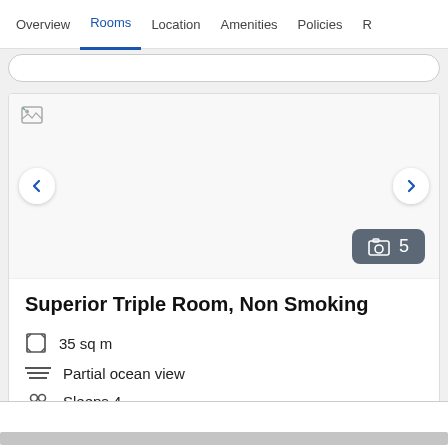Overview  Rooms  Location  Amenities  Policies  R
[Figure (screenshot): Hotel room image carousel with broken image placeholder, left/right navigation arrows, and a photo count badge showing 5 photos]
Superior Triple Room, Non Smoking
35 sq m
Partial ocean view
Sleeps 4